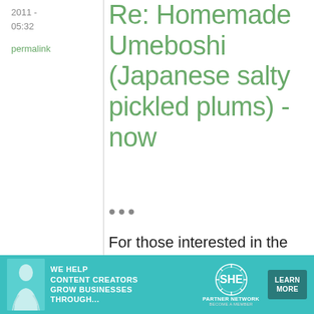2011 - 05:32
permalink
Re: Homemade Umeboshi (Japanese salty pickled plums) - now
...
For those interested in the trees they called Prunus Mume here in Oz & available in most
[Figure (infographic): SHE Partner Network advertisement banner: teal background with woman photo, text 'We help content creators grow businesses through...', SHE Partner Network logo, and 'Learn More' button]